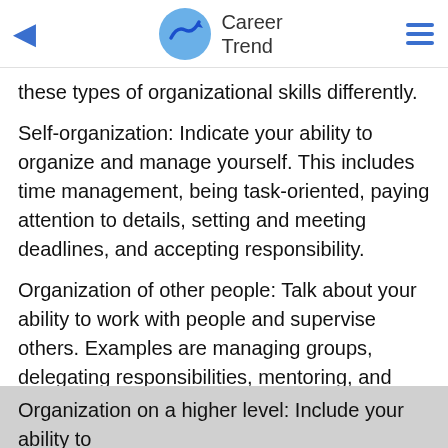Career Trend
these types of organizational skills differently.
Self-organization: Indicate your ability to organize and manage yourself. This includes time management, being task-oriented, paying attention to details, setting and meeting deadlines, and accepting responsibility.
Organization of other people: Talk about your ability to work with people and supervise others. Examples are managing groups, delegating responsibilities, mentoring, and coaching.
Organization on a higher level: Include your ability to